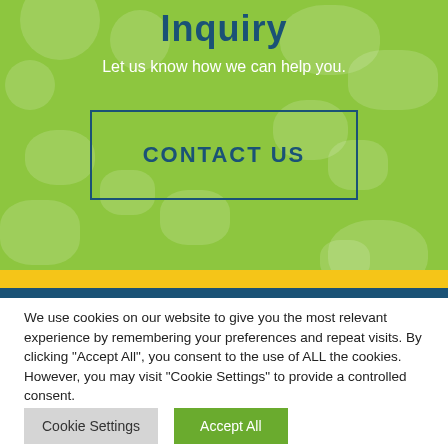Inquiry
Let us know how we can help you.
CONTACT US
We use cookies on our website to give you the most relevant experience by remembering your preferences and repeat visits. By clicking “Accept All”, you consent to the use of ALL the cookies. However, you may visit “Cookie Settings” to provide a controlled consent.
Cookie Settings
Accept All